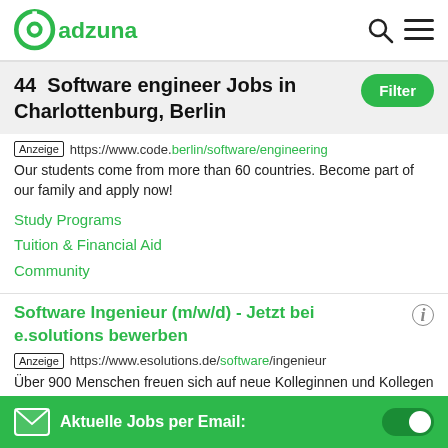adzuna
44  Software engineer Jobs in Charlottenburg, Berlin
Anzeige | https://www.code.berlin/software/engineering
Our students come from more than 60 countries. Become part of our family and apply now!
Study Programs
Tuition & Financial Aid
Community
Software Ingenieur (m/w/d) - Jetzt bei e.solutions bewerben
Anzeige | https://www.esolutions.de/software/ingenieur
Über 900 Menschen freuen sich auf neue Kolleginnen und Kollegen in Erlangen und Ingolstadt. Entwickle bei uns hochkomplexe
Aktuelle Jobs per Email: